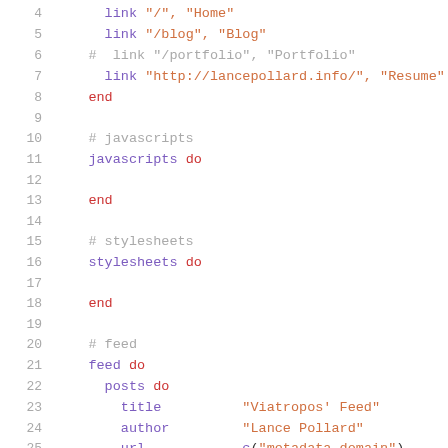[Figure (screenshot): Code snippet showing Ruby/DSL configuration file with line numbers 4-26. Contains navigation links, javascripts block, stylesheets block, and feed block with posts configuration including title, author, url, and description fields.]